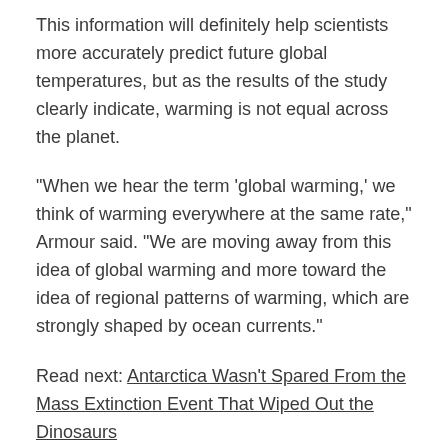This information will definitely help scientists more accurately predict future global temperatures, but as the results of the study clearly indicate, warming is not equal across the planet.
"When we hear the term 'global warming,' we think of warming everywhere at the same rate," Armour said. "We are moving away from this idea of global warming and more toward the idea of regional patterns of warming, which are strongly shaped by ocean currents."
Read next: Antarctica Wasn't Spared From the Mass Extinction Event That Wiped Out the Dinosaurs
Tags
Climate Change, Antarctica, ice, Oceans